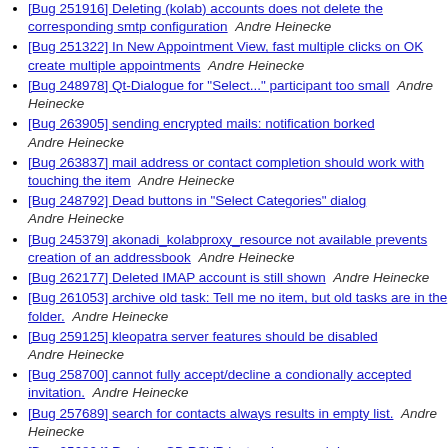[Bug 251916] Deleting (kolab) accounts does not delete the corresponding smtp configuration  Andre Heinecke
[Bug 251322] In New Appointment View, fast multiple clicks on OK create multiple appointments  Andre Heinecke
[Bug 248978] Qt-Dialogue for "Select..." participant too small  Andre Heinecke
[Bug 263905] sending encrypted mails: notification borked  Andre Heinecke
[Bug 263837] mail address or contact completion should work with touching the item  Andre Heinecke
[Bug 248792] Dead buttons in "Select Categories" dialog  Andre Heinecke
[Bug 245379] akonadi_kolabproxy_resource not available prevents creation of an addressbook  Andre Heinecke
[Bug 262177] Deleted IMAP account is still shown  Andre Heinecke
[Bug 261053] archive old task: Tell me no item, but old tasks are in the folder.  Andre Heinecke
[Bug 259125] kleopatra server features should be disabled  Andre Heinecke
[Bug 258700] cannot fully accept/decline a condionally accepted invitation.  Andre Heinecke
[Bug 257689] search for contacts always results in empty list.  Andre Heinecke
[Bug 256804] Replace CB RSVP by two icons and drop-...